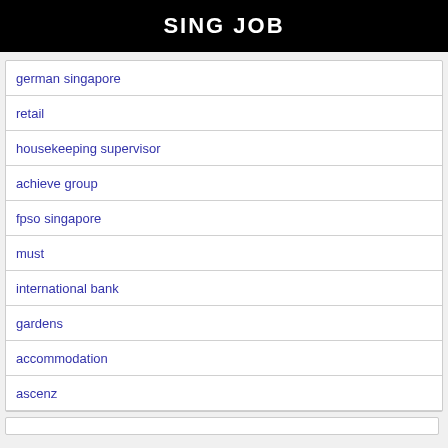SING JOB
german singapore
retail
housekeeping supervisor
achieve group
fpso singapore
must
international bank
gardens
accommodation
ascenz
Copyright 2015 @ Singapore Job Vacancies 2019 - US Job Vacancies About | Privacy Policy | Disclaimer | Term of Service - 0.205 s.